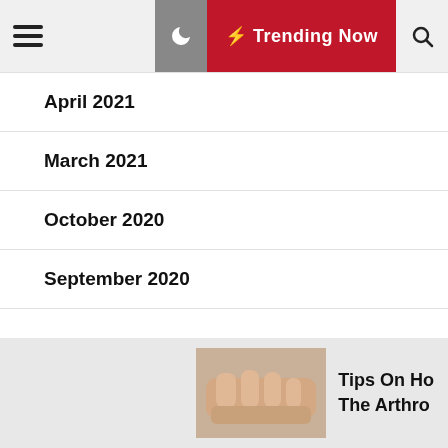≡  ☾  ⚡ Trending Now  🔍
April 2021
March 2021
October 2020
September 2020
Categories
[Figure (photo): Hands and feet, arthritis-related image thumbnail]
Tips On Ho The Arthro